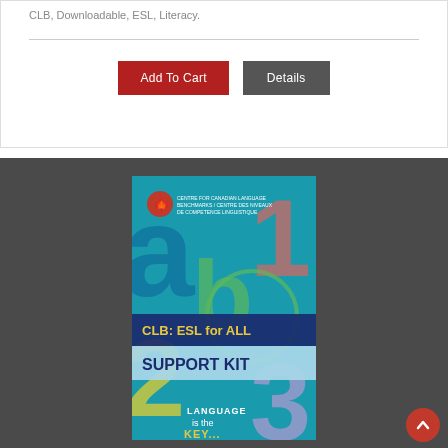CLB, Downloadable, ESL, Literacy.
Add To Cart
Details
[Figure (photo): Book cover of 'CLB: ESL for ALL Support Kit' showing colorful numbers 1, 2, 3 and letters a, b on a teal background with a navy and light blue banner. Text reads 'LANGUAGE is the...' at bottom. Canadian government logo visible at top.]